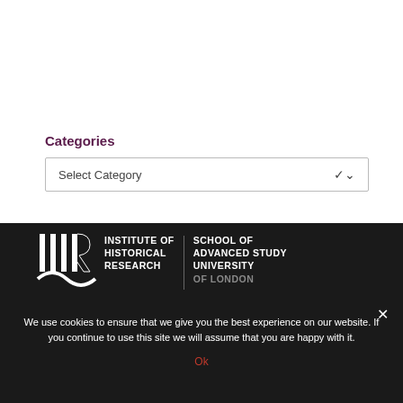Categories
Select Category
[Figure (logo): Institute of Historical Research / School of Advanced Study University of London logo with IHR icon and 1921-2021 centenary text]
We use cookies to ensure that we give you the best experience on our website. If you continue to use this site we will assume that you are happy with it.
Ok